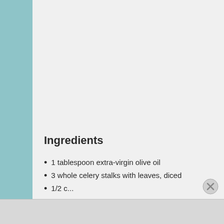[Figure (photo): Close-up photograph of a pot of tomato-based vegetable soup with green celery pieces visible in a rich orange-red broth]
Ingredients
1 tablespoon extra-virgin olive oil
3 whole celery stalks with leaves, diced
1/2...
Advertisements